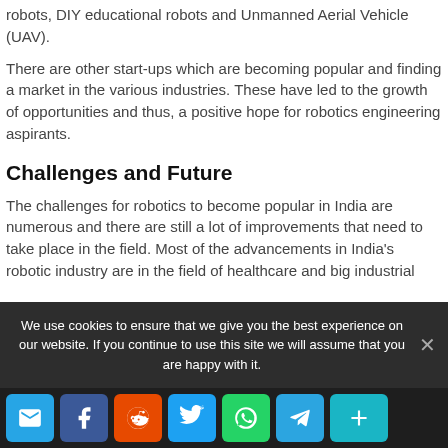robots, DIY educational robots and Unmanned Aerial Vehicle (UAV).
There are other start-ups which are becoming popular and finding a market in the various industries. These have led to the growth of opportunities and thus, a positive hope for robotics engineering aspirants.
Challenges and Future
The challenges for robotics to become popular in India are numerous and there are still a lot of improvements that need to take place in the field. Most of the advancements in India's robotic industry are in the field of healthcare and big industrial
We use cookies to ensure that we give you the best experience on our website. If you continue to use this site we will assume that you are happy with it.